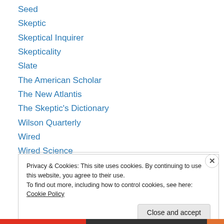Seed
Skeptic
Skeptical Inquirer
Skepticality
Slate
The American Scholar
The New Atlantis
The Skeptic's Dictionary
Wilson Quarterly
Wired
Wired Science
Privacy & Cookies: This site uses cookies. By continuing to use this website, you agree to their use.
To find out more, including how to control cookies, see here: Cookie Policy